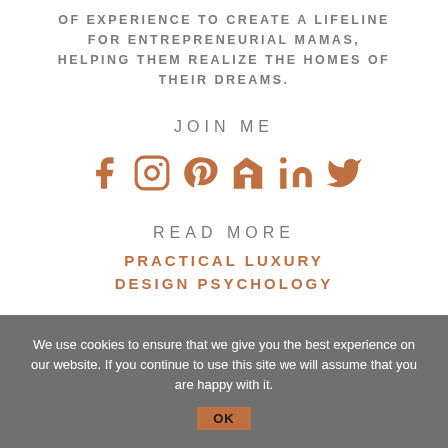OF EXPERIENCE TO CREATE A LIFELINE FOR ENTREPRENEURIAL MAMAS, HELPING THEM REALIZE THE HOMES OF THEIR DREAMS.
JOIN ME
[Figure (infographic): Six social media icons in brown/terracotta color: Facebook, Instagram, Pinterest, Houzz, LinkedIn, Twitter]
READ MORE
PRACTICAL LUXURY
DESIGN PSYCHOLOGY
We use cookies to ensure that we give you the best experience on our website. If you continue to use this site we will assume that you are happy with it.